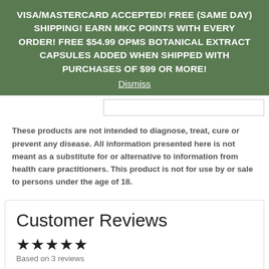VISA/MASTERCARD ACCEPTED! FREE (SAME DAY) SHIPPING! EARN MKC POINTS WITH EVERY ORDER! FREE $54.99 OPMS BOTANICAL EXTRACT CAPSULES ADDED WHEN SHIPPED WITH PURCHASES OF $99 OR MORE! Dismiss
These products are not intended to diagnose, treat, cure or prevent any disease. All information presented here is not meant as a substitute for or alternative to information from health care practitioners. This product is not for use by or sale to persons under the age of 18.
Customer Reviews
★★★★★ Based on 3 reviews